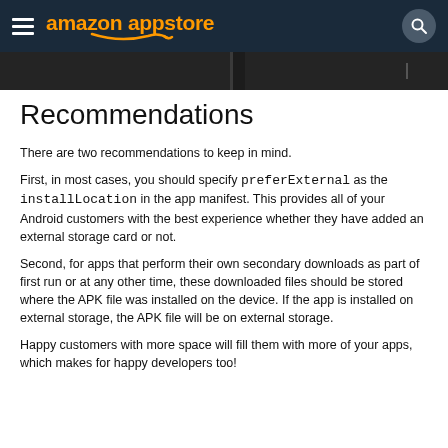amazon appstore
Recommendations
There are two recommendations to keep in mind.
First, in most cases, you should specify preferExternal as the installLocation in the app manifest. This provides all of your Android customers with the best experience whether they have added an external storage card or not.
Second, for apps that perform their own secondary downloads as part of first run or at any other time, these downloaded files should be stored where the APK file was installed on the device. If the app is installed on external storage, the APK file will be on external storage.
Happy customers with more space will fill them with more of your apps, which makes for happy developers too!